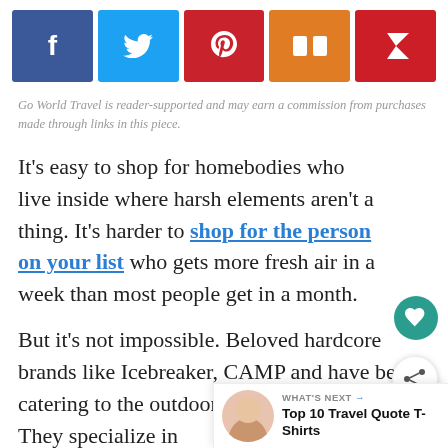[Figure (other): Social media share buttons: Facebook (blue), Twitter (light blue), Pinterest (red), Mix (orange), Flipboard (dark red)]
Go World Travel is reader-supported and may earn a commission from purchases made through links in this piece.
It’s easy to shop for homebodies who live inside where harsh elements aren’t a thing. It’s harder to shop for the person on your list who gets more fresh air in a week than most people get in a month.
But it’s not impossible. Beloved hardcore brands like Icebreaker, CAMP and have been catering to the outdoor industry for years. They specialize in